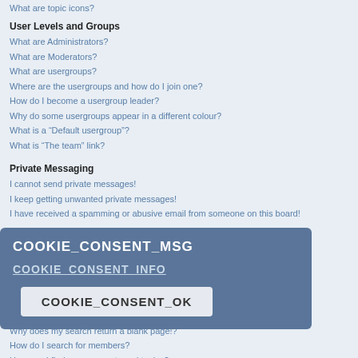What are topic icons?
User Levels and Groups
What are Administrators?
What are Moderators?
What are usergroups?
Where are the usergroups and how do I join one?
How do I become a usergroup leader?
Why do some usergroups appear in a different colour?
What is a “Default usergroup”?
What is “The team” link?
Private Messaging
I cannot send private messages!
I keep getting unwanted private messages!
I have received a spamming or abusive email from someone on this board!
Friends and Foes
What are my Friends and Foes lists?
How can I add / remove users to my Friends or Foes list?
Searching the Forums
How can I search a forum or forums?
Why does my search return no results?
Why does my search return a blank page!?
How do I search for members?
How can I find my own posts and topics?
[Figure (screenshot): Cookie consent overlay with COOKIE_CONSENT_MSG, COOKIE_CONSENT_INFO link, and COOKIE_CONSENT_OK button]